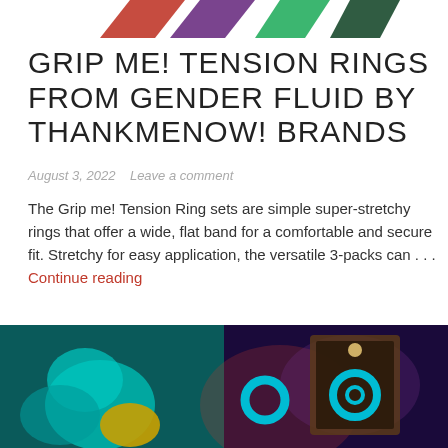[Figure (photo): Partial top image showing colorful ribbon/band shapes in red, purple, green, dark green colors against white background]
GRIP ME! TENSION RINGS FROM GENDER FLUID BY THANKMENOW! BRANDS
August 3, 2022    Leave a comment
The Grip me! Tension Ring sets are simple super-stretchy rings that offer a wide, flat band for a comfortable and secure fit. Stretchy for easy application, the versatile 3-packs can . . . Continue reading
[Figure (photo): Bottom image showing two product photos side by side: left shows teal/green colored intimate product on dark teal background, right shows a product in a decorative box with blue/purple smoky background]